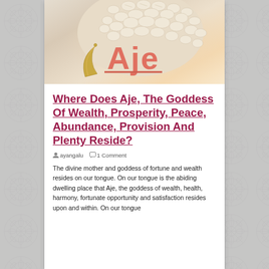[Figure (illustration): Decorative image showing cowrie shells arranged on a round object, with 'Aje' text in large salmon/coral colored letters and a crescent horn or tusk decorative element in the foreground]
Where Does Aje, The Goddess Of Wealth, Prosperity, Peace, Abundance, Provision And Plenty Reside?
ayangalu   1 Comment
The divine mother and goddess of fortune and wealth resides on our tongue. On our tongue is the abiding dwelling place that Aje, the goddess of wealth, health, harmony, fortunate opportunity and satisfaction resides upon and within. On our tongue